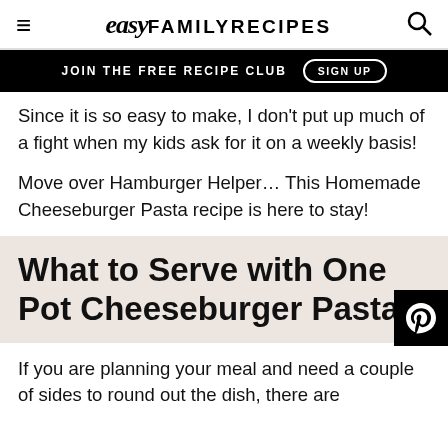easy FAMILY RECIPES
JOIN THE FREE RECIPE CLUB  SIGN UP
Since it is so easy to make, I don't put up much of a fight when my kids ask for it on a weekly basis!
Move over Hamburger Helper… This Homemade Cheeseburger Pasta recipe is here to stay!
What to Serve with One Pot Cheeseburger Pasta
If you are planning your meal and need a couple of sides to round out the dish, there are